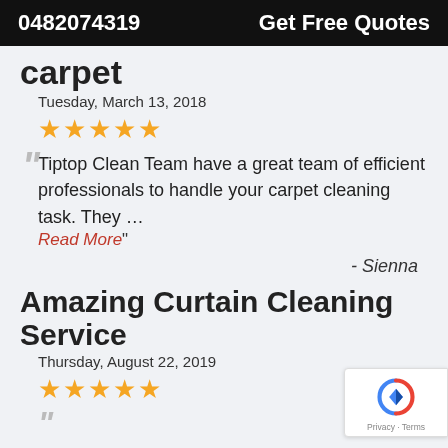0482074319   Get Free Quotes
carpet
Tuesday, March 13, 2018
★★★★★
Tiptop Clean Team have a great team of efficient professionals to handle your carpet cleaning task. They …
Read More"
- Sienna
Amazing Curtain Cleaning Service
Thursday, August 22, 2019
★★★★★